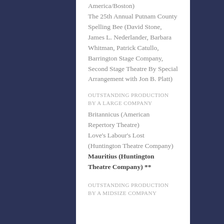America/Boston)
The 25th Annual Putnam County Spelling Bee (David Stone, James L. Nederlander, Barbara Whitman, Patrick Catullo, Barrington Stage Company, Second Stage Theatre By Special Arrangement with Jon B. Platt)
OUTSTANDING PRODUCTION BY A LARGE COMPANY
Britannicus (American Repertory Theatre)
Love's Labour's Lost (Huntington Theatre Company)
Mauritius (Huntington Theatre Company) **
OUTSTANDING PRODUCTION BY A MIDSIZE COMPANY